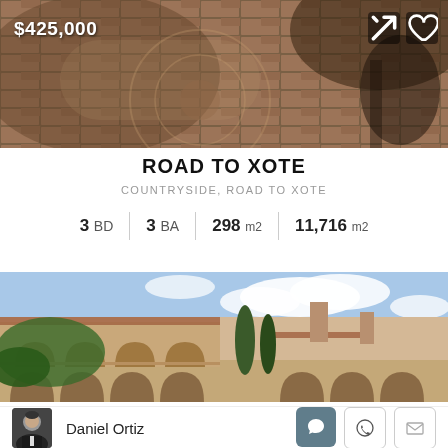[Figure (photo): Aerial/overhead view of a brick/stone patio or walkway in an outdoor setting with trees and vegetation]
$425,000
ROAD TO XOTE
COUNTRYSIDE, ROAD TO XOTE
3 BD  |  3 BA  |  298 m2  |  11,716 m2
[Figure (photo): Luxury Mediterranean-style villa with arched colonnades, balconies, and lush greenery under a partly cloudy sky. Badges: FOR SALE, LUXURY. ID: 2645]
Daniel Ortiz